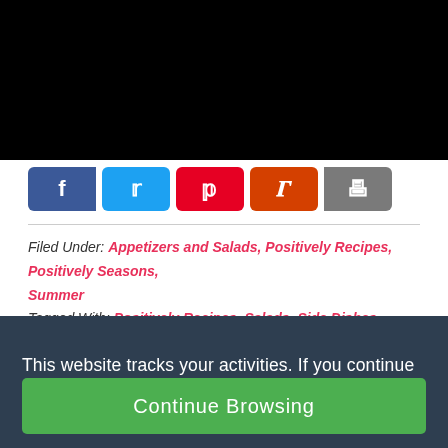[Figure (other): Black background area at top of page (cropped image area)]
[Figure (other): Social sharing buttons bar: Facebook (blue), Twitter (light blue), Pinterest (red), Yummly (orange), Print (gray)]
Filed Under: Appetizers and Salads, Positively Recipes, Positively Seasons, Summer
Tagged With: Positively Recipes, Salads, Side Dishes, Summer
This website tracks your activities. If you continue browsing the site, you're giving us consent to track your activity.
Continue Browsing